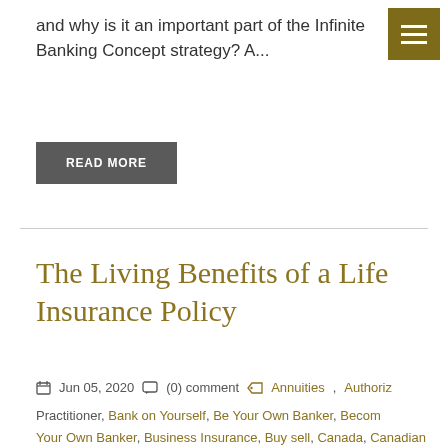and why is it an important part of the Infinite Banking Concept strategy? A...
READ MORE
The Living Benefits of a Life Insurance Policy
Jun 05, 2020  (0) comment  Annuities, Authorized Practitioner, Bank on Yourself, Be Your Own Banker, Become Your Own Banker, Business Insurance, Buy sell, Canada, Canadian